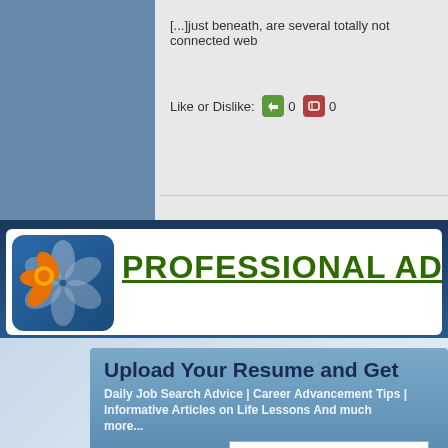[...]just beneath, are several totally not connected web
Like or Dislike: 0 0
[Figure (logo): Professional Advice website banner with flower logo and green bold underlined title text 'PROFESSIONAL ADVI...']
Upload Your Resume and Get
Daily Job Search Advice | Career Advancement Tips | Informative Articles on Life Lessons And much more...
Email Address
Upload Resume   Choose File   No file chosen